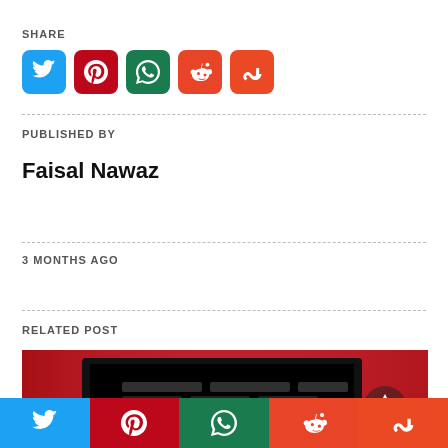SHARE
[Figure (infographic): Row of 5 social share icon buttons: Twitter (blue), Pinterest (dark red), WhatsApp (dark green), Reddit (orange-red), StumbleUpon (orange-red)]
PUBLISHED BY
Faisal Nawaz
3 MONTHS AGO
RELATED POST
[Figure (photo): Related post thumbnail showing a dark TV/monitor screen on a red background with a play/up arrow button overlay, appears to be an ESPN or sports streaming related image]
[Figure (infographic): Bottom social share bar with 5 sections: Twitter (blue), Pinterest (dark red), WhatsApp (dark green), Reddit (orange-red), StumbleUpon (orange-red)]